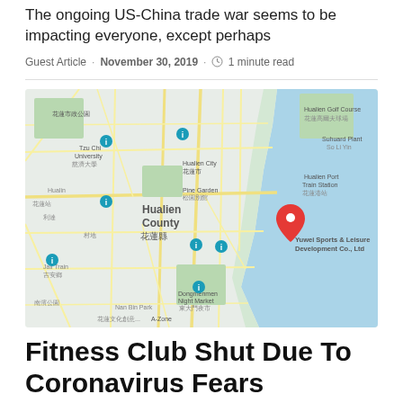The ongoing US-China trade war seems to be impacting everyone, except perhaps
Guest Article · November 30, 2019 · 🕐 1 minute read
[Figure (map): Google Maps screenshot showing Hualien County area in Taiwan, with a red location pin marking what appears to be Yuwei Sports & Leisure Development Co., Ltd near the coast. The map shows streets, landmarks, and the Pacific Ocean coastline to the east.]
Fitness Club Shut Due To Coronavirus Fears
despite a requirement (for) self-quarantine, club